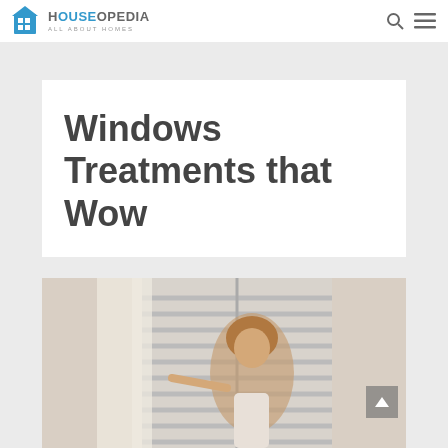HOUSEOPEDIA ALL ABOUT HOMES
Windows Treatments that Wow
[Figure (photo): Woman with curly hair smiling and pointing at window blinds/shutters with sheer curtains, bright natural light coming through the window.]